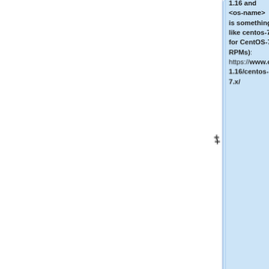1.16 and <os-name> is something like centos-7 for CentOS-7 RPMs): https://www.opendap.org/pub/binary/hyrax-1.16/centos-7.x/
# ''put *.rpm*''
+# ''exit''